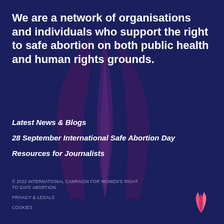We are a network of organisations and individuals who support the right to safe abortion on both public health and human rights grounds.
Latest News & Blogs
28 September International Safe Abortion Day
Resources for Journalists
© 2022 INTERNATIONAL CAMPAIGN FOR WOMEN'S RIGHT TO SAFE ABORTION
PRIVACY & LEGALS
COOKIES